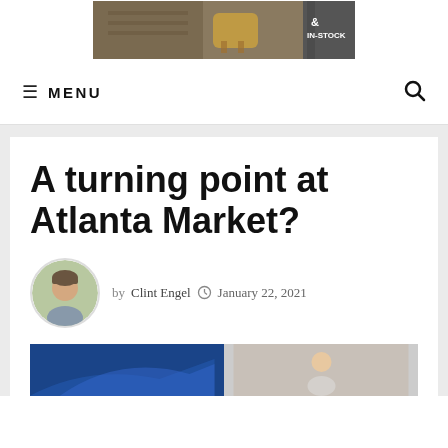[Figure (photo): Banner advertisement with furniture/interior image showing '& IN-STOCK' text]
≡ MENU
A turning point at Atlanta Market?
by Clint Engel   January 22, 2021
[Figure (photo): Article hero image split: blue graphic on left, woman on right]